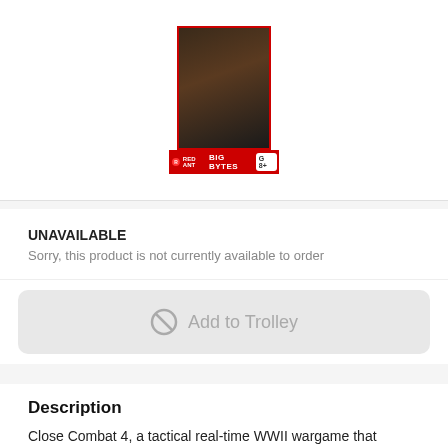[Figure (photo): Product image of Close Combat 4 game box with red banner showing 'BIG BYTES' and a rating badge]
UNAVAILABLE
Sorry, this product is not currently available to order
Add to Trolley
Description
Close Combat 4, a tactical real-time WWII wargame that emphasizes realism. The game focuses on the infamous 1944 "Battle of the